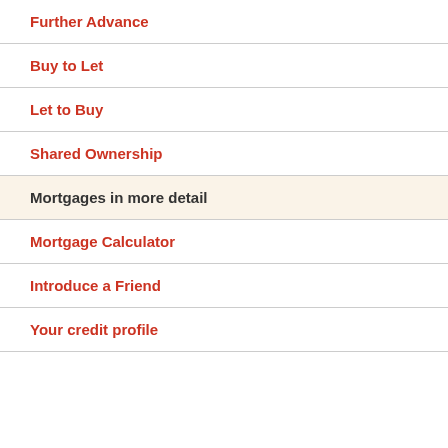Further Advance
Buy to Let
Let to Buy
Shared Ownership
Mortgages in more detail
Mortgage Calculator
Introduce a Friend
Your credit profile